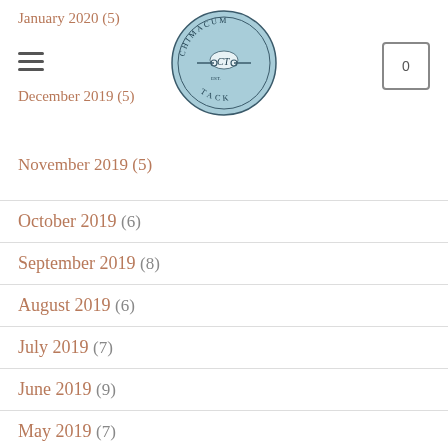Chimacum Tack — navigation header with logo
January 2020 (5)
December 2019 (5)
November 2019 (5)
October 2019 (6)
September 2019 (8)
August 2019 (6)
July 2019 (7)
June 2019 (9)
May 2019 (7)
April 2019 (7)
March 2019 (6)